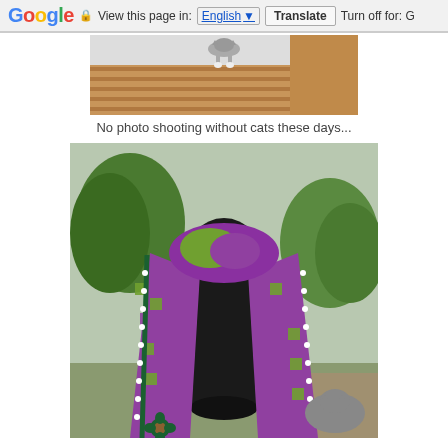Google  View this page in: English [▼]  Translate  Turn off for: G
[Figure (photo): Partial photo of a wooden structure with a cat visible at the top edge]
No photo shooting without cats these days...
[Figure (photo): A crocheted scarf in purple, green, and white granny-square style, displayed on a black mannequin bust, with a garden background]